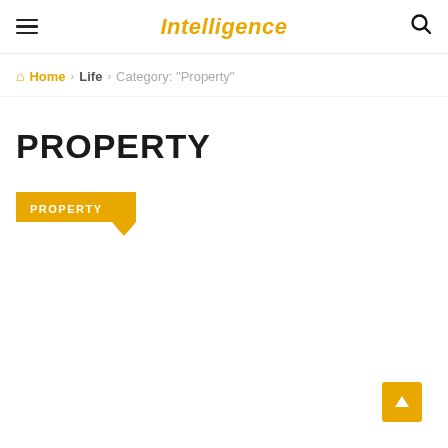Intelligence
Home › Life › Category: "Property"
PROPERTY
PROPERTY